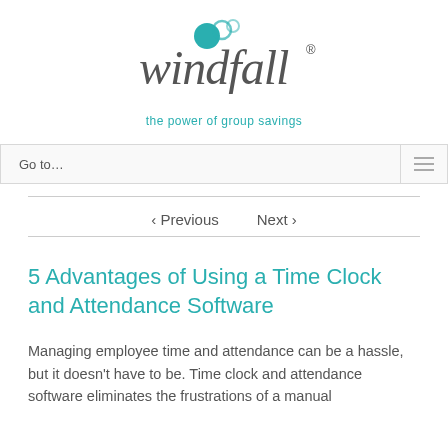[Figure (logo): Windfall logo with teal circular swirl icon and stylized italic 'windfall' text with registered trademark symbol]
the power of group savings
Go to…
‹ Previous   Next ›
5 Advantages of Using a Time Clock and Attendance Software
Managing employee time and attendance can be a hassle, but it doesn't have to be. Time clock and attendance software eliminates the frustrations of a manual